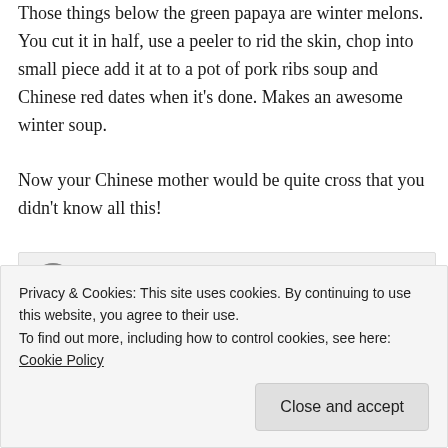Those things below the green papaya are winter melons. You cut it in half, use a peeler to rid the skin, chop into small piece add it at to a pot of pork ribs soup and Chinese red dates when it’s done. Makes an awesome winter soup.

Now your Chinese mother would be quite cross that you didn’t know all this!
Celia @ Fig Jam and Lime Cordial on May 9, 2013 at 7:19 pm
Privacy & Cookies: This site uses cookies. By continuing to use this website, you agree to their use.
To find out more, including how to control cookies, see here: Cookie Policy